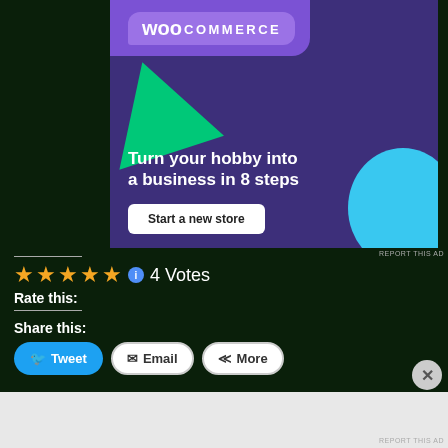[Figure (illustration): WooCommerce advertisement banner: dark purple background with 'woo COMMERCE' logo at top, green triangle shape on left, cyan circle on right, headline 'Turn your hobby into a business in 8 steps', and a 'Start a new store' button.]
REPORT THIS AD
★★★★★ 4 Votes
Rate this:
Share this:
Tweet
Email
More
Advertisements
REPORT THIS AD